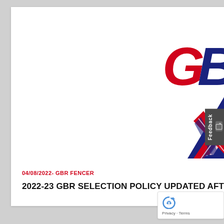[Figure (logo): GBR Fencing logo — bold red letters 'GBR' with a diagonal Union Jack lightning bolt / chevron design in red, white, and navy blue]
04/08/2022- GBR FENCER
2022-23 GBR SELECTION POLICY UPDATED AFTER CONSULTATION